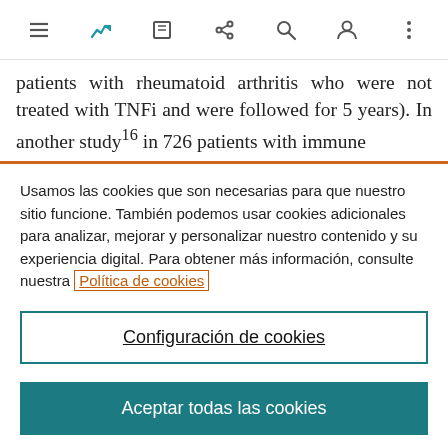[Toolbar with navigation icons: hamburger menu, analytics/chart icon (active, teal), edit, share/cut, search, user, more options]
patients with rheumatoid arthritis who were not treated with TNFi and were followed for 5 years). In another study¹⁶ in 726 patients with immune
Usamos las cookies que son necesarias para que nuestro sitio funcione. También podemos usar cookies adicionales para analizar, mejorar y personalizar nuestro contenido y su experiencia digital. Para obtener más información, consulte nuestra Política de cookies
Configuración de cookies
Aceptar todas las cookies